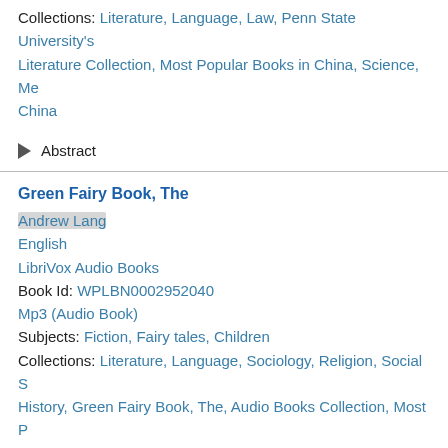Collections: Literature, Language, Law, Penn State University's Literature Collection, Most Popular Books in China, Science, Me China
▶ Abstract
Green Fairy Book, The
Andrew Lang
English
LibriVox Audio Books
Book Id: WPLBN0002952040
Mp3 (Audio Book)
Subjects: Fiction, Fairy tales, Children
Collections: Literature, Language, Sociology, Religion, Social S History, Green Fairy Book, The, Audio Books Collection, Most P National Library of China
▶ Abstract
He
Andrew Lang ; Walter Herries Pollock